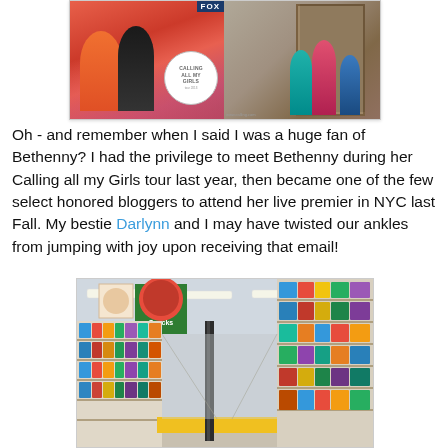[Figure (photo): Two collaged photos: left shows two women posing, one in orange and one in black, in front of a pink backdrop with a 'Calling All My Girls' badge; right shows three women standing near a doorway wearing teal, pink, and blue outfits.]
Oh - and remember when I said I was a huge fan of Bethenny? I had the privilege to meet Bethenny during her Calling all my Girls tour last year, then became one of the few select honored bloggers to attend her live premier in NYC last Fall. My bestie Darlynn and I may have twisted our ankles from jumping with joy upon receiving that email!
[Figure (photo): Interior photo of a retail store aisle (appears to be Walmart) showing the Snacks aisle with shelves stocked with products on both sides, overhead fluorescent lighting, a yellow base shelf strip, and a support pole in the center aisle.]